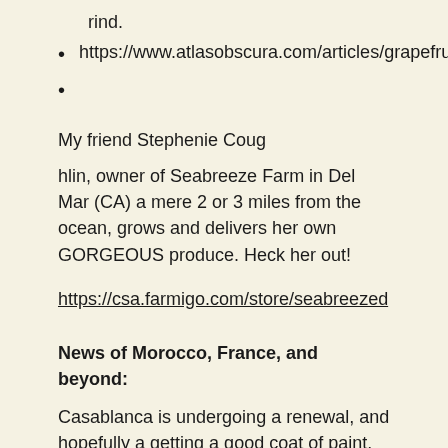rind.
https://www.atlasobscura.com/articles/grapefruit-
My friend Stephenie Coug
hlin, owner of Seabreeze Farm in Del Mar (CA) a mere 2 or 3 miles from the ocean, grows and delivers her own GORGEOUS produce. Heck her out!
https://csa.farmigo.com/store/seabreezed
News of Morocco, France, and beyond:
Casablanca is undergoing a renewal, and hopefully a getting a good coat of paint. We lived on Avenue Hassan II, across from the park, one the city's main arteries. This is what our building looked like in the earl 1920s...a beautiful Moorish art deco structure. it needs a new coat of paint in this century. Local casablancais have finally realized what an architectural